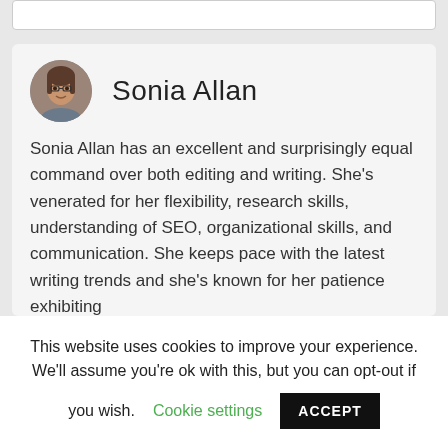[Figure (photo): Circular avatar photo of Sonia Allan, a woman with glasses and brown hair]
Sonia Allan
Sonia Allan has an excellent and surprisingly equal command over both editing and writing. She’s venerated for her flexibility, research skills, understanding of SEO, organizational skills, and communication. She keeps pace with the latest writing trends and she’s known for her patience exhibiting
This website uses cookies to improve your experience. We’ll assume you’re ok with this, but you can opt-out if you wish. Cookie settings ACCEPT